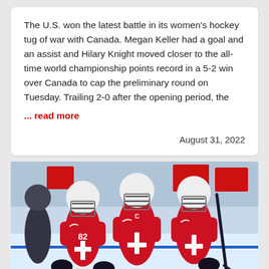The U.S. won the latest battle in its women's hockey tug of war with Canada. Megan Keller had a goal and an assist and Hilary Knight moved closer to the all-time world championship points record in a 5-2 win over Canada to cap the preliminary round on Tuesday. Trailing 2-0 after the opening period, the
... read more
August 31, 2022
[Figure (photo): Three women ice hockey players in red Switzerland jerseys (with white cross emblem) celebrating on the ice rink. Player number 82 is visible. They are wearing white helmets with face guards. A hockey stick is visible. Red flags in the background.]